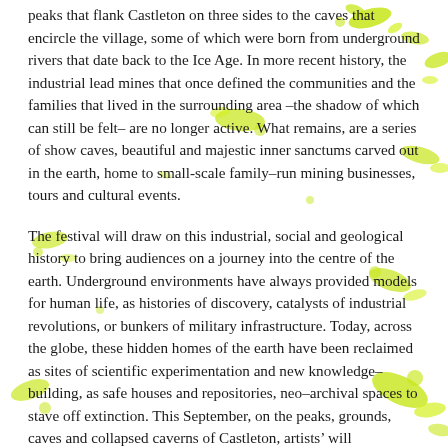peaks that flank Castleton on three sides to the caves that encircle the village, some of which were born from underground rivers that date back to the Ice Age. In more recent history, the industrial lead mines that once defined the communities and the families that lived in the surrounding area –the shadow of which can still be felt– are no longer active. What remains, are a series of show caves, beautiful and majestic inner sanctums carved out in the earth, home to small-scale family–run mining businesses, tours and cultural events.
The festival will draw on this industrial, social and geological history to bring audiences on a journey into the centre of the earth. Underground environments have always provided models for human life, as histories of discovery, catalysts of industrial revolutions, or bunkers of military infrastructure. Today, across the globe, these hidden homes of the earth have been reclaimed as sites of scientific experimentation and new knowledge–building, as safe houses and repositories, neo–archival spaces to stave off extinction. This September, on the peaks, grounds, caves and collapsed caverns of Castleton, artists' will imaginatively map the invisible and material forces that interlink and coalesce into forms and stories, peculiarities and anomalies. There they will uncover what is not immediately apparent. Stretching back into the farthest histories, the deepest spaces and to the highest points, digging deeper,